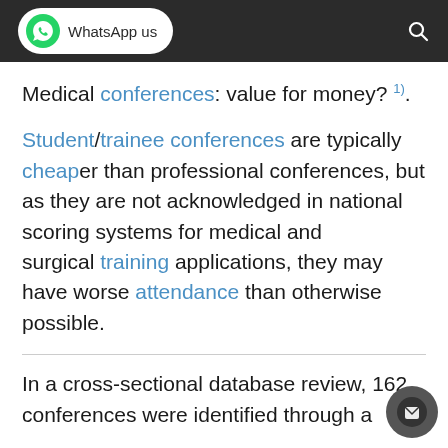WhatsApp us
Medical conferences: value for money? 1).
Student/trainee conferences are typically cheaper than professional conferences, but as they are not acknowledged in national scoring systems for medical and surgical training applications, they may have worse attendance than otherwise possible.
In a cross-sectional database review, 162 conferences were identified through a